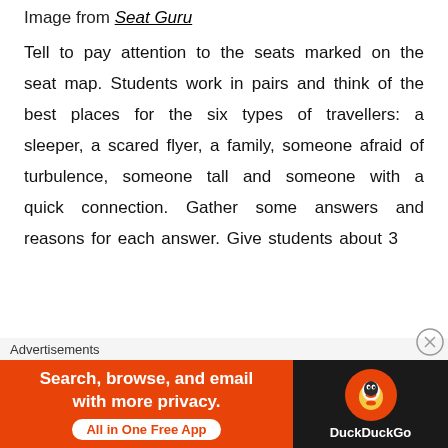Image from Seat Guru
Tell to pay attention to the seats marked on the seat map. Students work in pairs and think of the best places for the six types of travellers: a sleeper, a scared flyer, a family, someone afraid of turbulence, someone tall and someone with a quick connection. Gather some answers and reasons for each answer. Give students about 3
Advertisements — Search, browse, and email with more privacy. All in One Free App — DuckDuckGo